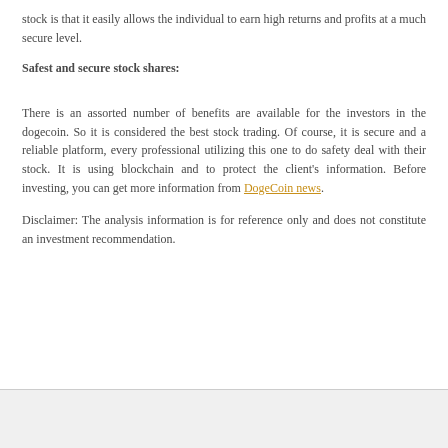stock is that it easily allows the individual to earn high returns and profits at a much secure level.
Safest and secure stock shares:
There is an assorted number of benefits are available for the investors in the dogecoin. So it is considered the best stock trading. Of course, it is secure and a reliable platform, every professional utilizing this one to do safety deal with their stock. It is using blockchain and to protect the client's information. Before investing, you can get more information from DogeCoin news.
Disclaimer: The analysis information is for reference only and does not constitute an investment recommendation.